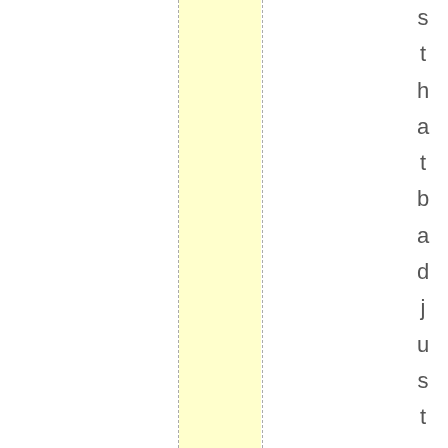[Figure (other): Page layout showing a yellow highlighted vertical column strip between two dashed vertical lines, with vertical rotated text reading 'that bad just wait for the Joe' running down the right margin.]
s t h a t b a d j u s t w a i t f o r t h e J o e